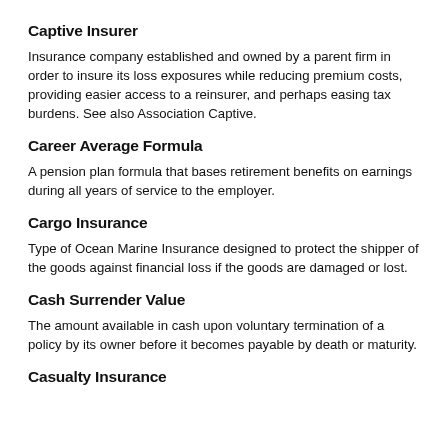Captive Insurer
Insurance company established and owned by a parent firm in order to insure its loss exposures while reducing premium costs, providing easier access to a reinsurer, and perhaps easing tax burdens. See also Association Captive.
Career Average Formula
A pension plan formula that bases retirement benefits on earnings during all years of service to the employer.
Cargo Insurance
Type of Ocean Marine Insurance designed to protect the shipper of the goods against financial loss if the goods are damaged or lost.
Cash Surrender Value
The amount available in cash upon voluntary termination of a policy by its owner before it becomes payable by death or maturity.
Casualty Insurance